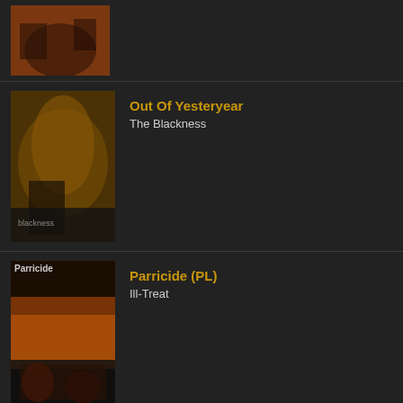[Figure (illustration): Album cover art - dark reddish tones, partial top entry]
[Figure (illustration): Album cover art - The Blackness by Out Of Yesteryear, yellowish fantasy artwork]
Out Of Yesteryear
The Blackness
[Figure (illustration): Album cover art - Ill-Treat by Parricide (PL), fiery orange/red tones]
Parricide (PL)
Ill-Treat
[Figure (illustration): Album cover art - Kingdom of Downfall by Parricide (PL), dark reddish tones]
Parricide (PL)
Kingdom of Downfall